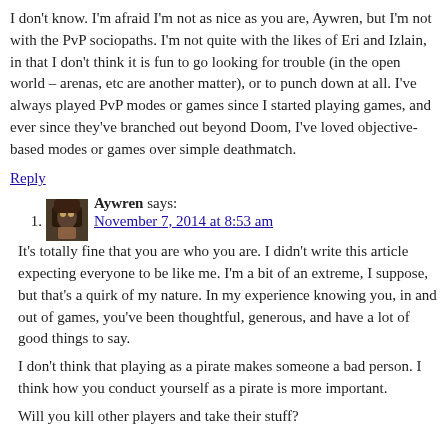I don't know. I'm afraid I'm not as nice as you are, Aywren, but I'm not with the PvP sociopaths. I'm not quite with the likes of Eri and Izlain, in that I don't think it is fun to go looking for trouble (in the open world – arenas, etc are another matter), or to punch down at all. I've always played PvP modes or games since I started playing games, and ever since they've branched out beyond Doom, I've loved objective-based modes or games over simple deathmatch.
Reply
1. Aywren says: November 7, 2014 at 8:53 am
It's totally fine that you are who you are. I didn't write this article expecting everyone to be like me. I'm a bit of an extreme, I suppose, but that's a quirk of my nature. In my experience knowing you, in and out of games, you've been thoughtful, generous, and have a lot of good things to say.
I don't think that playing as a pirate makes someone a bad person. I think how you conduct yourself as a pirate is more important.
Will you kill other players and take their stuff?